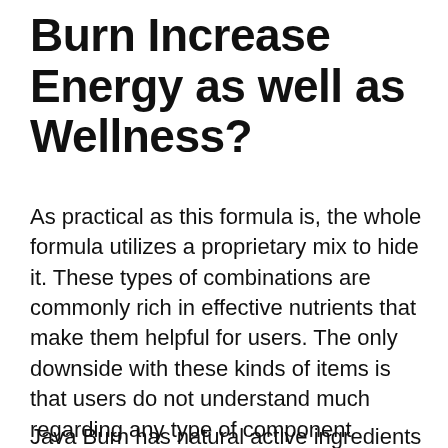Burn Increase Energy as well as Wellness?
As practical as this formula is, the whole formula utilizes a proprietary mix to hide it. These types of combinations are commonly rich in effective nutrients that make them helpful for users. The only downside with these kinds of items is that users do not understand much regarding any type of component included in the formula. Instead, they base just how this product works with the assumed benefits of each ingredient's function.
Java Burn has natural active ingredients that collaborate with your coffee as well as aid